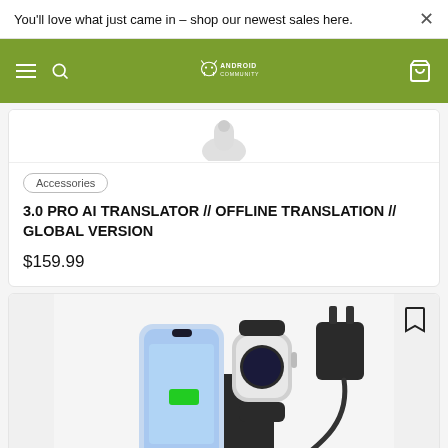You'll love what just came in – shop our newest sales here.
[Figure (screenshot): Android Community website navigation bar with green background, hamburger menu, search icon, Android Community logo, and cart icon]
[Figure (photo): Partial product image showing top of device (AI Translator)]
Accessories
3.0 PRO AI TRANSLATOR // OFFLINE TRANSLATION // GLOBAL VERSION
$159.99
[Figure (photo): Wireless charging station in black showing an iPhone, Apple Watch, and power adapter with USB-C cable]